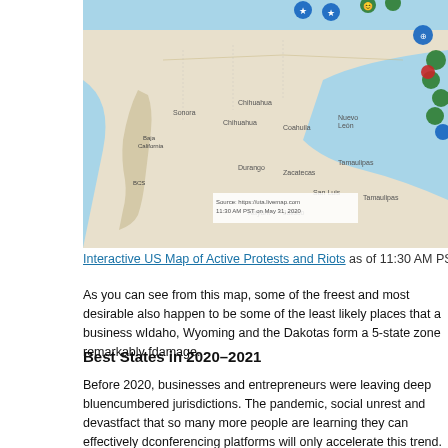[Figure (map): Interactive US Map showing active protests and riots with colored markers (blue, green, red circles) across US states, particularly concentrated on the southern/coastal areas. Source watermark visible at lower left: 'Source: https://uta.livemap.com / 11:30 AM PST on May 31, 2020']
Interactive US Map of Active Protests and Riots as of 11:30 AM PST
As you can see from this map, some of the freest and most desirable also happen to be some of the least likely places that a business w Idaho, Wyoming and the Dakotas form a 5-state zone remarkably f damage.
Best States in 2020-2021
Before 2020, businesses and entrepreneurs were leaving deep blu encumbered jurisdictions. The pandemic, social unrest and devast fact that so many more people are learning they can effectively d conferencing platforms will only accelerate this trend. Additionall reopening of business by shielding employers from an onslaught o employees and customers could have contracted COVID-19 in the California seek to pin that responsibility on employers by creating sickness resulted from the workplace.